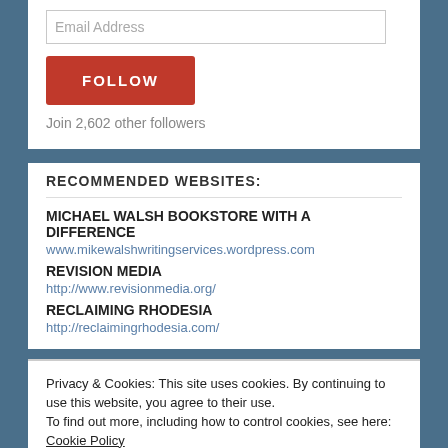Email Address
FOLLOW
Join 2,602 other followers
RECOMMENDED WEBSITES:
MICHAEL WALSH BOOKSTORE WITH A DIFFERENCE
www.mikewalshwritingservices.wordpress.com
REVISION MEDIA
http://www.revisionmedia.org/
RECLAIMING RHODESIA
http://reclaimingrhodesia.com/
Privacy & Cookies: This site uses cookies. By continuing to use this website, you agree to their use.
To find out more, including how to control cookies, see here: Cookie Policy
Close and accept
...realhistorychan.com/p=ct-94362091.html